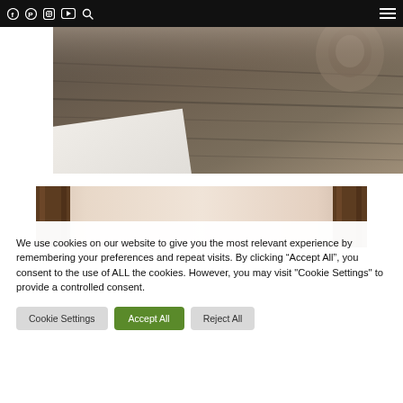Navigation bar with social icons: Facebook, Pinterest, Instagram, YouTube, Search, and hamburger menu
[Figure (photo): Close-up photo of a dark wood-grain surface (furniture top), partially covered by a white surface at the bottom left corner, with a blurred decorative sphere object in the upper right background.]
[Figure (photo): Partial view of a room interior showing what appears to be a wooden furniture piece with two vertical dark brown legs/posts visible at left and right edges against a light beige/cream wall background.]
We use cookies on our website to give you the most relevant experience by remembering your preferences and repeat visits. By clicking “Accept All”, you consent to the use of ALL the cookies. However, you may visit "Cookie Settings" to provide a controlled consent.
Cookie Settings | Accept All | Reject All